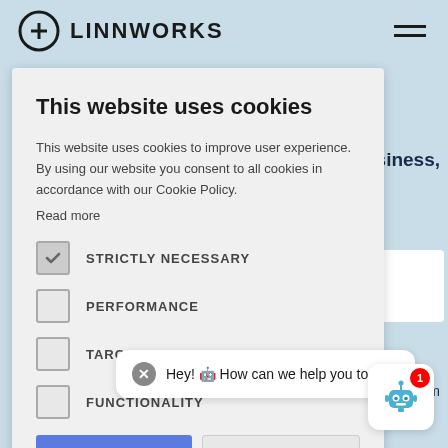LINNWORKS
This website uses cookies
This website uses cookies to improve user experience. By using our website you consent to all cookies in accordance with our Cookie Policy.
Read more
STRICTLY NECESSARY
PERFORMANCE
TARGETING
FUNCTIONALITY
ACCEPT ALL
DECLINE ALL
SHOW DETAILS
Hey! 🤖 How can we help you today?